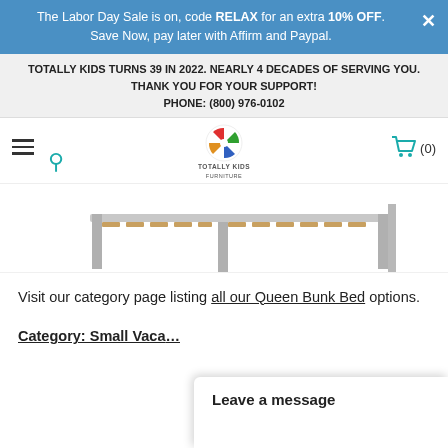The Labor Day Sale is on, code RELAX for an extra 10% OFF. Save Now, pay later with Affirm and Paypal.
TOTALLY KIDS TURNS 39 IN 2022. NEARLY 4 DECADES OF SERVING YOU. THANK YOU FOR YOUR SUPPORT! PHONE: (800) 976-0102
[Figure (logo): Totally Kids Furniture logo with colorful pinwheel icon]
[Figure (photo): Partial product photo showing bottom frame/legs of a bunk bed in white/grey finish with wooden slats visible]
Visit our category page listing all our Queen Bunk Bed options.
Category: Small Vaca…
Leave a message